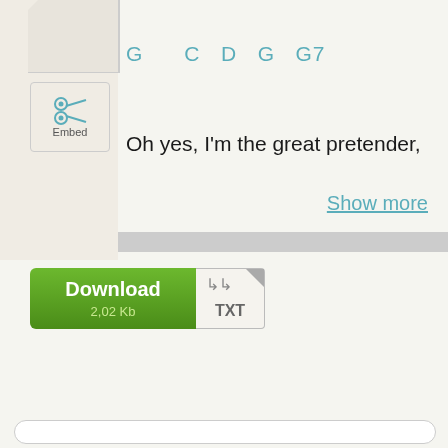G    C D G G7
Oh yes, I'm the great pretender,
Show more
[Figure (other): Download button with TXT file icon, labeled 'Download 2,02 Kb']